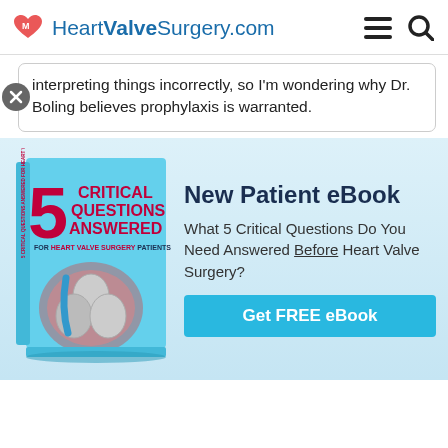HeartValveSurgery.com
interpreting things incorrectly, so I'm wondering why Dr. Boling believes prophylaxis is warranted.
[Figure (illustration): eBook cover for '5 Critical Questions Answered for Heart Valve Surgery Patients' showing a heart valve illustration]
New Patient eBook
What 5 Critical Questions Do You Need Answered Before Heart Valve Surgery?
Get FREE eBook